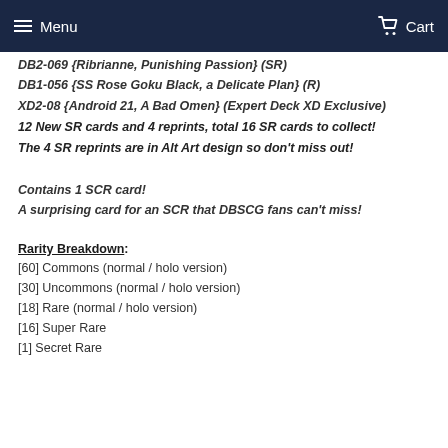Menu   Cart
DB2-069 {Ribrianne, Punishing Passion} (SR)
DB1-056 {SS Rose Goku Black, a Delicate Plan} (R)
XD2-08 {Android 21, A Bad Omen} (Expert Deck XD Exclusive)
12 New SR cards and 4 reprints, total 16 SR cards to collect!
The 4 SR reprints are in Alt Art design so don't miss out!
Contains 1 SCR card!
A surprising card for an SCR that DBSCG fans can't miss!
Rarity Breakdown:
[60] Commons (normal / holo version)
[30] Uncommons (normal / holo version)
[18] Rare (normal / holo version)
[16] Super Rare
[1] Secret Rare